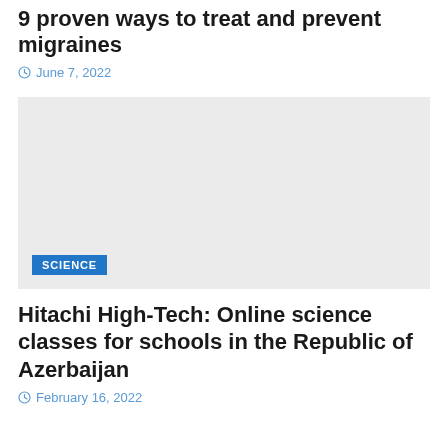9 proven ways to treat and prevent migraines
June 7, 2022
[Figure (photo): Gray placeholder image with a SCIENCE category badge in the lower left corner]
Hitachi High-Tech: Online science classes for schools in the Republic of Azerbaijan
February 16, 2022